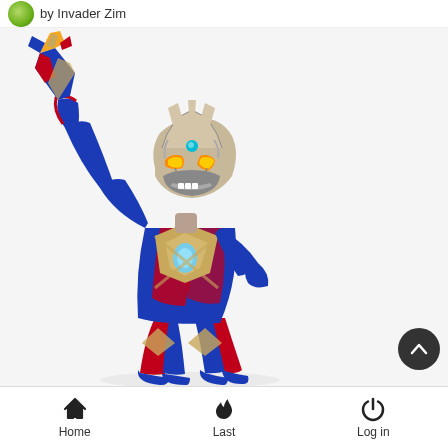by Invader Zim
[Figure (photo): An Ultraman action figure/character in blue, red, and silver armor suit, holding a rocket or weapon raised upward with one hand. The character has glowing yellow eyes and a teal gem on the forehead. The background is plain white.]
Home   Last   Log in